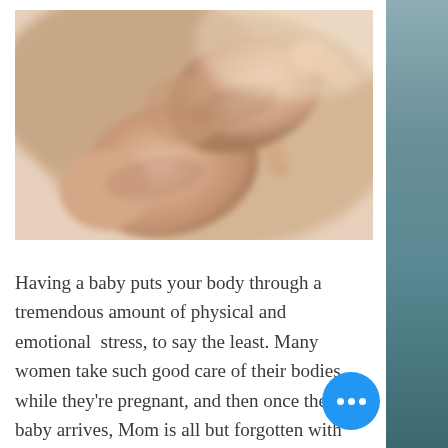[Figure (photo): Close-up blurred photo of a newborn baby's feet and toes, warm pink/peach tones, soft focus]
Having a baby puts your body through a tremendous amount of physical and emotional stress, to say the least. Many women take such good care of their bodies while they're pregnant, and then once the baby arrives, Mom is all but forgotten with